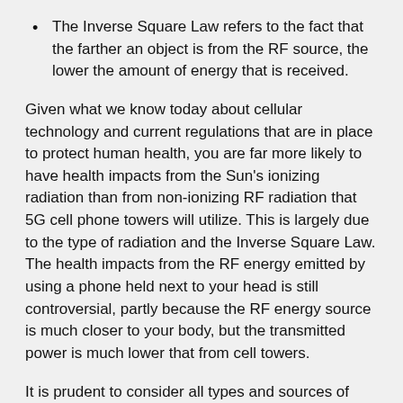The Inverse Square Law refers to the fact that the farther an object is from the RF source, the lower the amount of energy that is received.
Given what we know today about cellular technology and current regulations that are in place to protect human health, you are far more likely to have health impacts from the Sun's ionizing radiation than from non-ionizing RF radiation that 5G cell phone towers will utilize. This is largely due to the type of radiation and the Inverse Square Law. The health impacts from the RF energy emitted by using a phone held next to your head is still controversial, partly because the RF energy source is much closer to your body, but the transmitted power is much lower that from cell towers.
It is prudent to consider all types and sources of radiation hazards in your Job Safety Analysis, but radiation hazards from cell phones and their corresponding cellular towers is